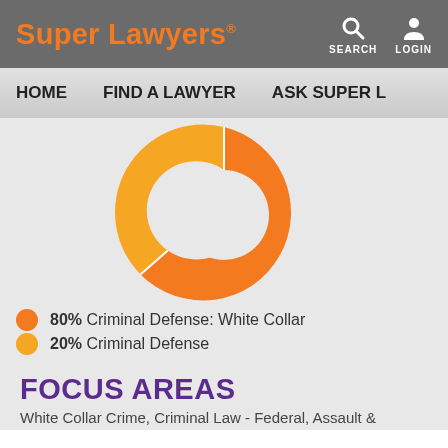Super Lawyers SEARCH LOGIN
HOME   FIND A LAWYER   ASK SUPER L
[Figure (donut-chart): Practice Areas]
80%  Criminal Defense: White Collar
20%  Criminal Defense
FOCUS AREAS
White Collar Crime, Criminal Law - Federal, Assault &